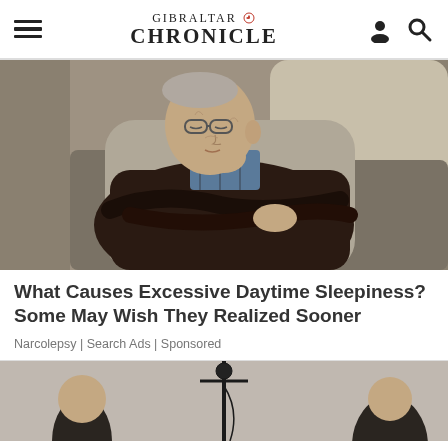GIBRALTAR CHRONICLE
[Figure (photo): Elderly man sleeping in an armchair with arms crossed, wearing glasses and a dark sweater over a plaid shirt]
What Causes Excessive Daytime Sleepiness? Some May Wish They Realized Sooner
Narcolepsy | Search Ads | Sponsored
[Figure (photo): Partial view of people standing, partially cropped at bottom of page]